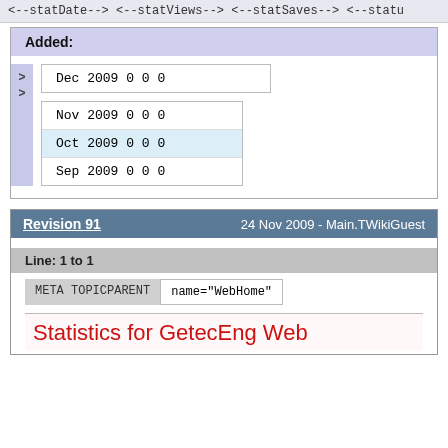<--statDate--> <--statViews--> <--statSaves--> <--statu
Added:
| Dec 2009 0 0 0 |
| Nov 2009 0 0 0 |
| Oct 2009 0 0 0 |
| Sep 2009 0 0 0 |
Revision 91   24 Nov 2009 - Main.TWikiGuest
Line: 1 to 1
| META TOPICPARENT | name="WebHome" |
| --- | --- |
Statistics for GetecEng Web